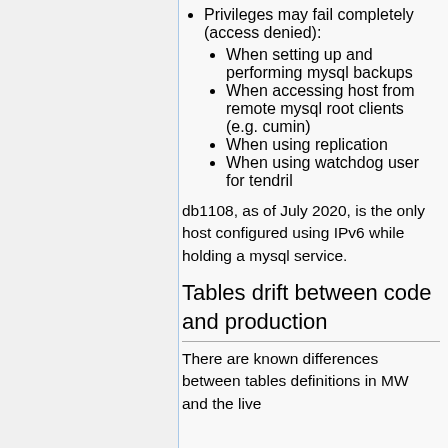Privileges may fail completely (access denied):
When setting up and performing mysql backups
When accessing host from remote mysql root clients (e.g. cumin)
When using replication
When using watchdog user for tendril
db1108, as of July 2020, is the only host configured using IPv6 while holding a mysql service.
Tables drift between code and production
There are known differences between tables definitions in MW and the live